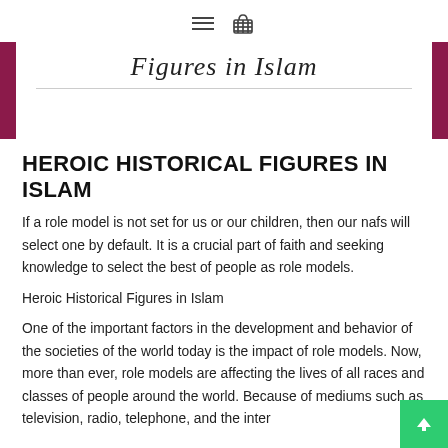≡ 🛒
[Figure (illustration): Book cover showing 'Figures in Islam' title text on a white inner panel with a dark maroon/magenta border]
HEROIC HISTORICAL FIGURES IN ISLAM
If a role model is not set for us or our children, then our nafs will select one by default. It is a crucial part of faith and seeking knowledge to select the best of people as role models.
Heroic Historical Figures in Islam
One of the important factors in the development and behavior of the societies of the world today is the impact of role models. Now, more than ever, role models are affecting the lives of all races and classes of people around the world. Because of mediums such as television, radio, telephone, and the inter